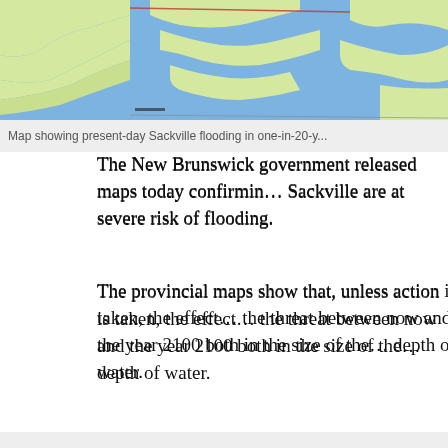[Figure (map): Map showing present-day Sackville flooding in one-in-20-year flood scenario, with blue water areas and light green land masses]
Map showing present-day Sackville flooding in one-in-20-y...
The New Brunswick government released maps today confirming that parts of Sackville are at severe risk of flooding.
The provincial maps show that, unless action is taken, the effects will worsen the threat between now and the year 2100 both in the size of the area flooded and depth of water.
[Figure (map): Partial map image (cropped), appears to show another flooding scenario map]